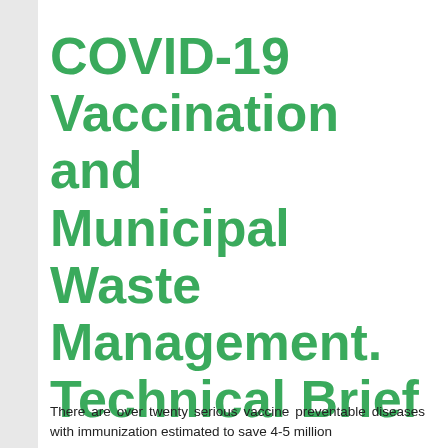COVID-19 Vaccination and Municipal Waste Management. Technical Brief
There are over twenty serious vaccine preventable diseases with immunization estimated to save 4-5 million